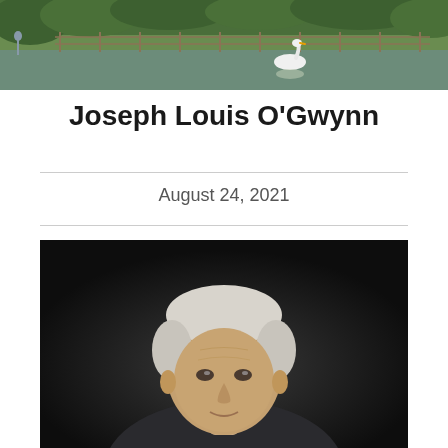[Figure (photo): Landscape photograph showing a pond or lake with a white swan, green grass, trees and a wooden fence in the background]
Joseph Louis O'Gwynn
August 24, 2021
[Figure (photo): Portrait photograph of an elderly man with white/silver hair against a dark background, visible from shoulders up]